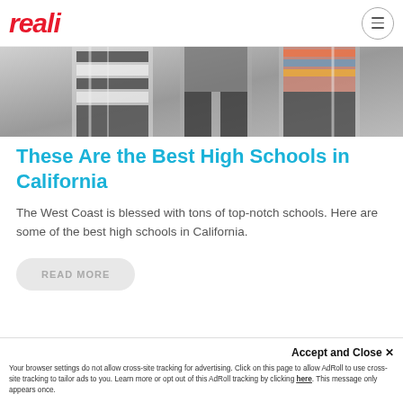reali
[Figure (photo): Cropped photo of high school students walking, showing torsos and legs, wearing striped and colorful clothing.]
These Are the Best High Schools in California
The West Coast is blessed with tons of top-notch schools. Here are some of the best high schools in California.
READ MORE
Accept and Close ✕
Your browser settings do not allow cross-site tracking for advertising. Click on this page to allow AdRoll to use cross-site tracking to tailor ads to you. Learn more or opt out of this AdRoll tracking by clicking here. This message only appears once.